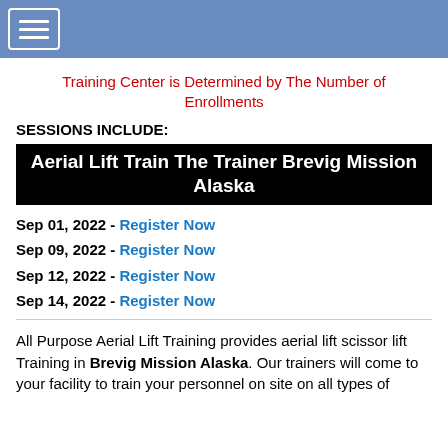Navigation menu button
Training Center is Determined by The Number of Enrollments
SESSIONS INCLUDE:
Aerial Lift Train The Trainer Brevig Mission Alaska
Sep 01, 2022 - Register Now
Sep 09, 2022 - Register Now
Sep 12, 2022 - Register Now
Sep 14, 2022 - Register Now
All Purpose Aerial Lift Training provides aerial lift scissor lift Training in Brevig Mission Alaska. Our trainers will come to your facility to train your personnel on site on all types of